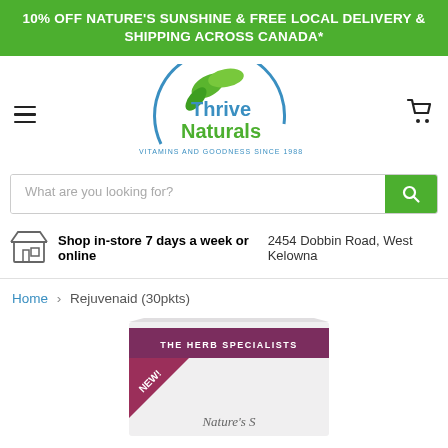10% OFF NATURE'S SUNSHINE & FREE LOCAL DELIVERY & SHIPPING ACROSS CANADA*
[Figure (logo): Thrive Naturals logo with green leaf design and text 'Thrive Naturals – Vitamins and Goodness Since 1988']
What are you looking for?
Shop in-store 7 days a week or online | 2454 Dobbin Road, West Kelowna
Home > Rejuvenaid (30pkts)
[Figure (photo): Partial view of a Nature's Sunshine Rejuvenaid 30 packets product box showing 'THE HERB SPECIALISTS' and 'NEW!' badge]